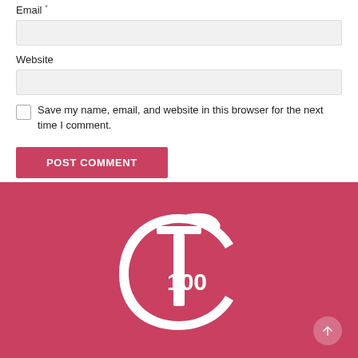Email *
Website
Save my name, email, and website in this browser for the next time I comment.
POST COMMENT
[Figure (logo): Red banner with white T100 ornate logo mark on a crimson/rose background]